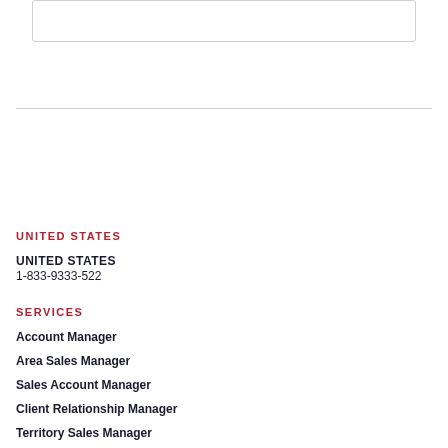[Figure (other): White box/card element at top of page]
UNITED STATES
UNITED STATES
1-833-9333-522
SERVICES
Account Manager
Area Sales Manager
Sales Account Manager
Client Relationship Manager
Territory Sales Manager